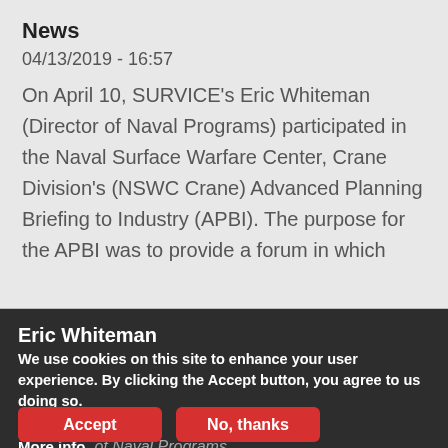News
04/13/2019 - 16:57
On April 10, SURVICE's Eric Whiteman (Director of Naval Programs) participated in the Naval Surface Warfare Center, Crane Division's (NSWC Crane) Advanced Planning Briefing to Industry (APBI). The purpose for the APBI was to provide a forum in which
Eric Whiteman
We use cookies on this site to enhance your user experience. By clicking the Accept button, you agree to us doing so.
People
More info
Director of Naval Programs
Accept
No, thanks